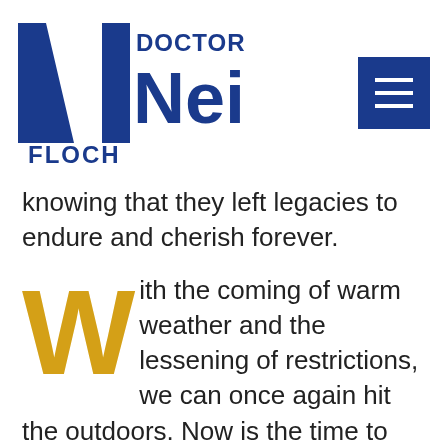Doctor Neil Floch
knowing that they left legacies to endure and cherish forever.
With the coming of warm weather and the lessening of restrictions, we can once again hit the outdoors. Now is the time to take walks and enjoy the budding beauty of nature. The paths in the parks await us as we stroll them on foot and on our bicycles. The tennis and basketball courts, baseball, and soccer fields await our participation as well as having us cheer on our young future athletic heroes. It's time to clean off the